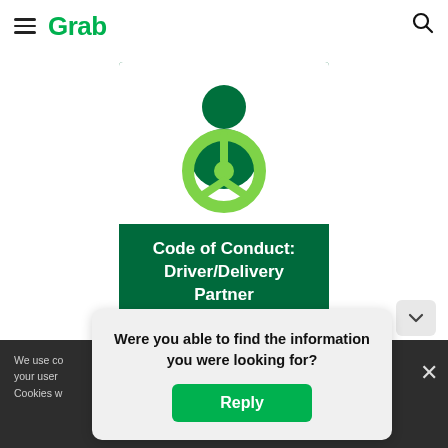[Figure (logo): Grab logo with hamburger menu and search icon in header nav bar]
[Figure (illustration): Grab Code of Conduct: Driver/Delivery Partner card with person and steering wheel icon on dark green background]
Code of Conduct: Driver/Delivery Partner
We use co... your user... Cookies w...
Were you able to find the information you were looking for?